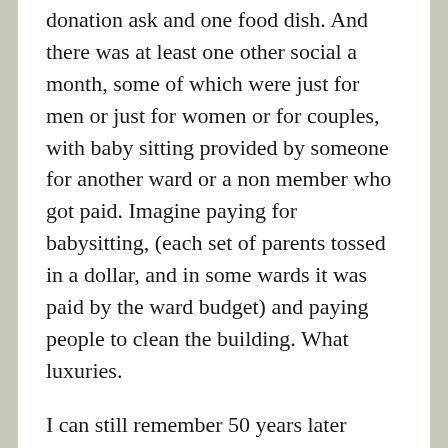donation ask and one food dish. And there was at least one other social a month, some of which were just for men or just for women or for couples, with baby sitting provided by someone for another ward or a non member who got paid. Imagine paying for babysitting, (each set of parents tossed in a dollar, and in some wards it was paid by the ward budget) and paying people to clean the building. What luxuries.
I can still remember 50 years later almost every family in my growing up ward, but the last ward I was in, I never did match up parents with children or some husbands and wives. And the inactive families even came to ward activities because they were FUN. Now that every activity has to has a “priesthood purpose” they are boring and watching grass grow and you would be embarrassed to bring nonmember friends, and the inactive never show up. Because trying to give a social activity a religious message kills the fun and the social. But the church tries so hard to make things